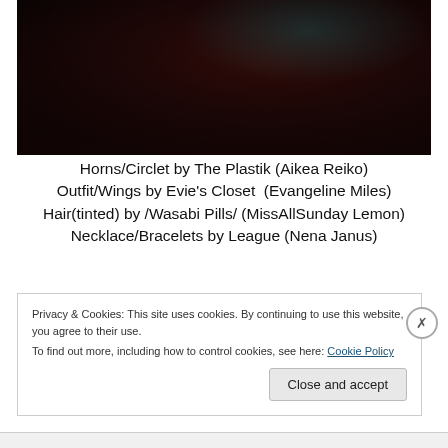[Figure (photo): Dark atmospheric photo with deep red and brown tones, showing a dimly lit scene with a faint teal/cyan light visible in upper right area]
Horns/Circlet by The Plastik (Aikea Reiko) Outfit/Wings by Evie's Closet  (Evangeline Miles) Hair(tinted) by /Wasabi Pills/ (MissAllSunday Lemon) Necklace/Bracelets by League (Nena Janus)
Privacy & Cookies: This site uses cookies. By continuing to use this website, you agree to their use.
To find out more, including how to control cookies, see here: Cookie Policy